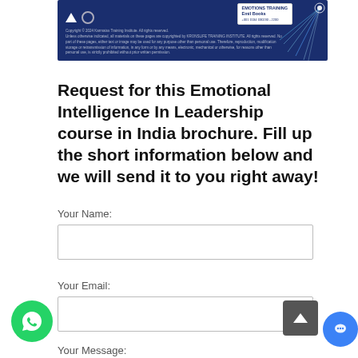[Figure (screenshot): Dark blue banner with training institute branding, triangular logo icon, certificate badge, and decorative starburst graphic on the right side]
Request for this Emotional Intelligence In Leadership course in India brochure. Fill up the short information below and we will send it to you right away!
Your Name:
Your Email:
Your Message: